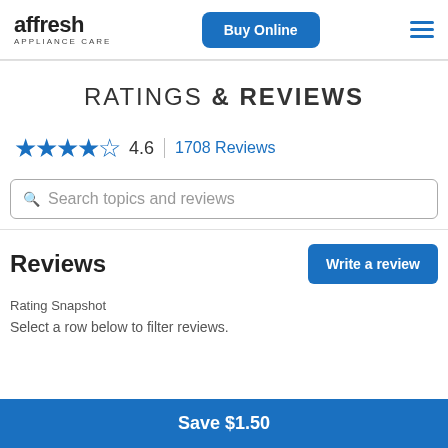affresh APPLIANCE CARE | Buy Online
RATINGS & REVIEWS
4.6  |  1708 Reviews
Search topics and reviews
Reviews
Write a review
Rating Snapshot
Select a row below to filter reviews.
Save $1.50